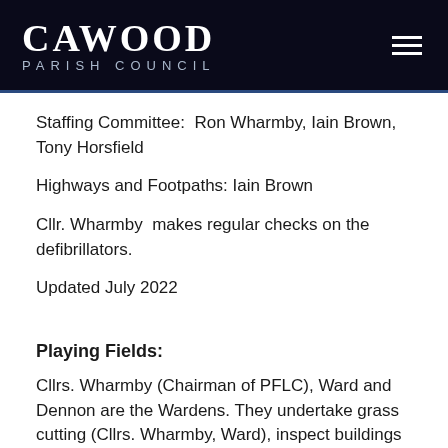CAWOOD PARISH COUNCIL
Staffing Committee:  Ron Wharmby, Iain Brown, Tony Horsfield
Highways and Footpaths: Iain Brown
Cllr. Wharmby  makes regular checks on the defibrillators.
Updated July 2022
Playing Fields:
Cllrs. Wharmby (Chairman of PFLC), Ward and Dennon are the Wardens. They undertake grass cutting (Cllrs. Wharmby, Ward), inspect buildings and play equipment (Cllrs. Wharmby and Dennon) and serve on the Playing Field Liaison